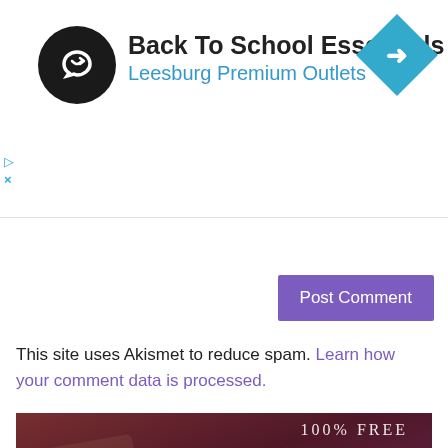[Figure (screenshot): Advertisement banner for Back To School Essentials at Leesburg Premium Outlets with a black circular logo with a loop/infinite arrow icon and a blue diamond navigation icon]
Back To School Essentials
Leesburg Premium Outlets
[Figure (screenshot): UI collapse/chevron-up bar]
[Figure (screenshot): Purple Post Comment button]
This site uses Akismet to reduce spam. Learn how your comment data is processed.
[Figure (infographic): Tarot card advertisement showing tarot cards with text overlay: 100% FREE, TAROT ONLINE, Today, Tomorrow, Classic, Love, Finances, Yes / No]